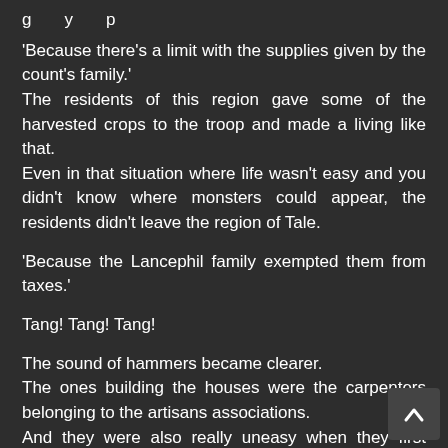g y p
'Because there's a limit with the supplies given by the count's family.' The residents of this region gave some of the harvested crops to the troop and made a living like that. Even in that situation where life wasn't easy and you didn't know where monsters could appear, the residents didn't leave the region of Tale.
'Because the Lancephil family exempted them from taxes.'
Tang! Tang! Tang!
The sound of hammers became clearer. The ones building the houses were the carpenters belonging to the artisans associations. And they were also really uneasy when they first moved over to the region of Tale. But after they realized that the surroundings were safer than what they had thought because of the subjugation of Amaranth troop, they became a bit